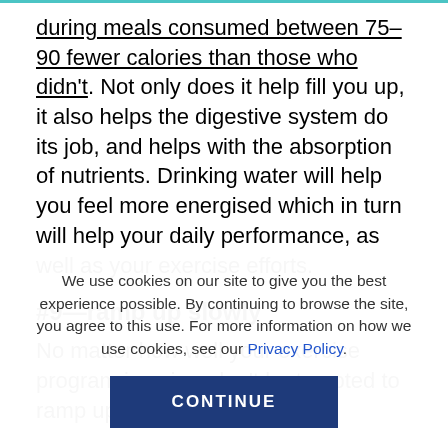during meals consumed between 75–90 fewer calories than those who didn't. Not only does it help fill you up, it also helps the digestive system do its job, and helps with the absorption of nutrients. Drinking water will help you feel more energised which in turn will help your daily performance, as well as your exercise efforts.
#9—ramp up slowly
No matter how well your exercise program is going, don't be tempted to ramp up the weight or the
We use cookies on our site to give you the best experience possible. By continuing to browse the site, you agree to this use. For more information on how we use cookies, see our Privacy Policy.